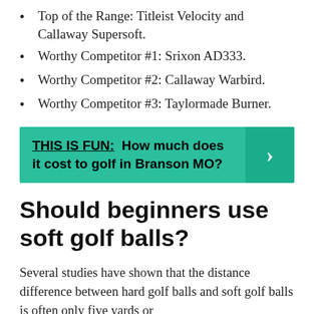Top of the Range: Titleist Velocity and Callaway Supersoft.
Worthy Competitor #1: Srixon AD333.
Worthy Competitor #2: Callaway Warbird.
Worthy Competitor #3: Taylormade Burner.
[Figure (infographic): Teal banner with bold text: THIS IS FUN: How much does it cost to golf in Branson MO? with a right-arrow chevron on the right side.]
Should beginners use soft golf balls?
Several studies have shown that the distance difference between hard golf balls and soft golf balls is often only five yards or